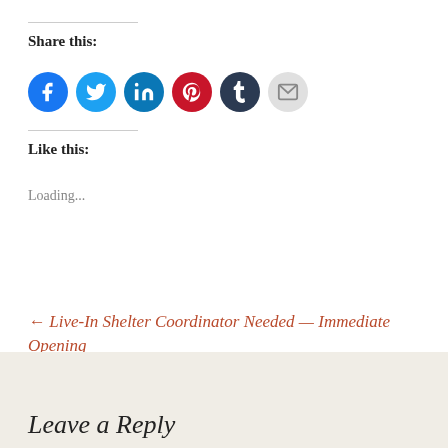Share this:
[Figure (infographic): Row of social media sharing icon circles: Facebook (blue), Twitter (light blue), LinkedIn (dark blue), Pinterest (red), Tumblr (dark navy), Email (light gray)]
Like this:
Loading...
← Live-In Shelter Coordinator Needed — Immediate Opening
LUM FOLLIES — Call Out for Entertainment →
Leave a Reply